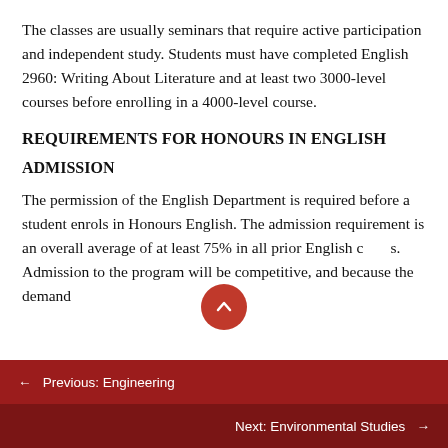The classes are usually seminars that require active participation and independent study. Students must have completed English 2960: Writing About Literature and at least two 3000-level courses before enrolling in a 4000-level course.
REQUIREMENTS FOR HONOURS IN ENGLISH
ADMISSION
The permission of the English Department is required before a student enrols in Honours English. The admission requirement is an overall average of at least 75% in all prior English courses. Admission to the program will be competitive, and because the demand
← Previous: Engineering
Next: Environmental Studies →